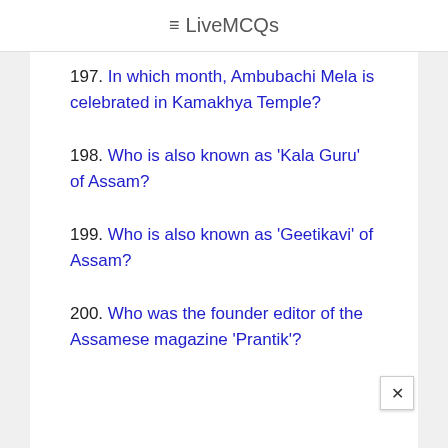≡ LiveMCQs
197. In which month, Ambubachi Mela is celebrated in Kamakhya Temple?
198. Who is also known as 'Kala Guru' of Assam?
199. Who is also known as 'Geetikavi' of Assam?
200. Who was the founder editor of the Assamese magazine 'Prantik'?